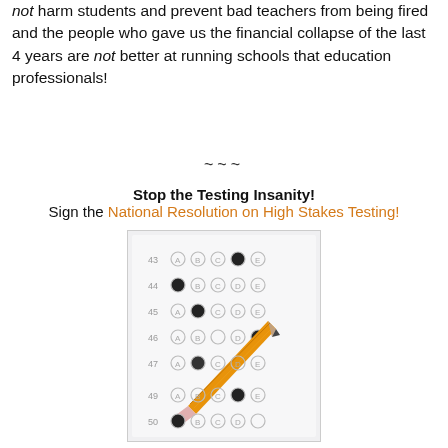not harm students and prevent bad teachers from being fired and the people who gave us the financial collapse of the last 4 years are not better at running schools that education professionals!
~~~
Stop the Testing Insanity!
Sign the National Resolution on High Stakes Testing!
[Figure (photo): A photo of a multiple-choice scantron answer sheet with rows numbered 43-50, showing filled-in bubbles for options A-E, with a pencil resting on the sheet.]